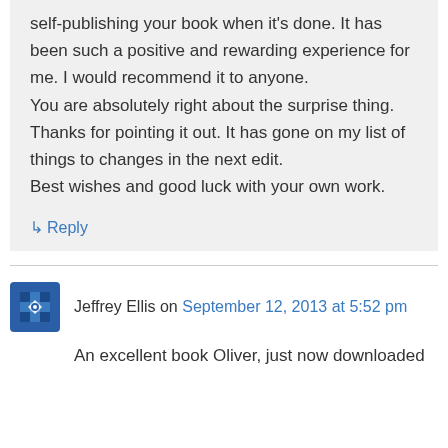self-publishing your book when it's done. It has been such a positive and rewarding experience for me. I would recommend it to anyone.
You are absolutely right about the surprise thing. Thanks for pointing it out. It has gone on my list of things to changes in the next edit.
Best wishes and good luck with your own work.
↳ Reply
Jeffrey Ellis on September 12, 2013 at 5:52 pm
An excellent book Oliver, just now downloaded